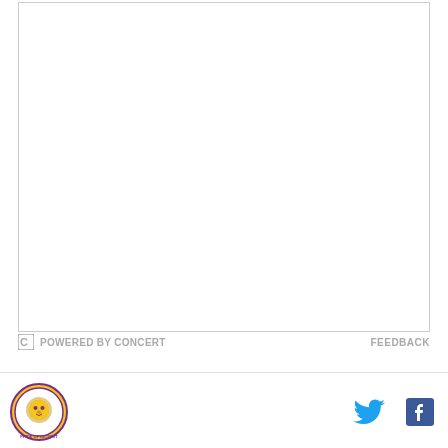[Figure (other): White rectangular document area with light gray border, mostly blank/empty content area]
POWERED BY CONCERT   FEEDBACK
[Figure (logo): Circular logo with a lion illustration, purple and gold colors, text around the border]
[Figure (other): Twitter bird icon in cyan/blue color]
[Figure (other): Facebook 'f' icon in dark blue color]